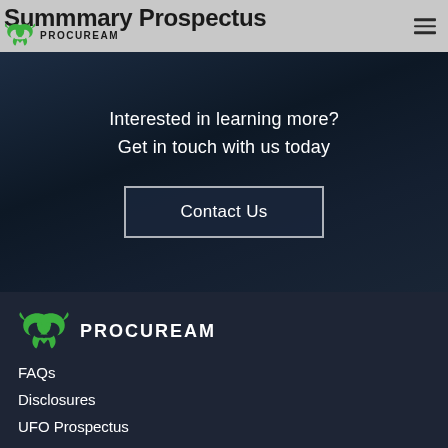Summmary Prospectus
[Figure (logo): Procuream dragon logo with text PROCUREAM in header]
Interested in learning more?
Get in touch with us today
Contact Us
[Figure (logo): Procuream dragon logo with text PROCUREAM in footer]
FAQs
Disclosures
UFO Prospectus